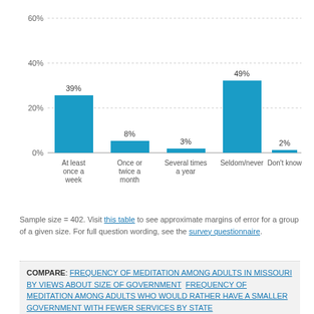[Figure (bar-chart): Frequency of meditation among adults in Missouri]
Sample size = 402. Visit this table to see approximate margins of error for a group of a given size. For full question wording, see the survey questionnaire.
COMPARE: FREQUENCY OF MEDITATION AMONG ADULTS IN MISSOURI BY VIEWS ABOUT SIZE OF GOVERNMENT   FREQUENCY OF MEDITATION AMONG ADULTS WHO WOULD RATHER HAVE A SMALLER GOVERNMENT WITH FEWER SERVICES BY STATE